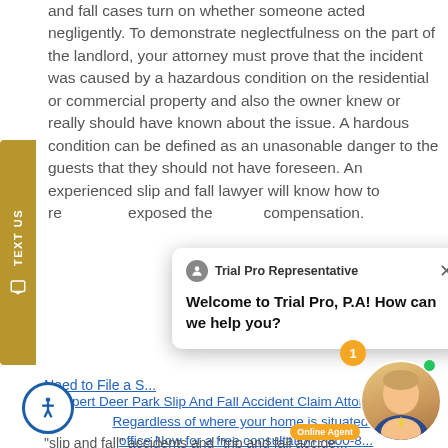and fall cases turn on whether someone acted negligently. To demonstrate neglectfulness on the part of the landlord, your attorney must prove that the incident was caused by a hazardous condition on the residential or commercial property and also the owner knew or really should have known about the issue. A hazardous condition can be defined as an unreasonable danger to the guests that they should not have foreseen. An experienced slip and fall lawyer will know how to re... posed the... pensation.
[Figure (screenshot): Gold 'TEXT US' sidebar widget on left side of screen with phone icon]
[Figure (screenshot): Chat popup from Trial Pro Representative saying 'Welcome to Trial Pro, P.A! How can we help you?' with close X button]
Need to File a S...
Expert Deer Park Slip And Fall Accident Claim Attorneys
Regardless of where your home is situated... office Now for a free consultation - 800-8...
"slip and fall" accidents and "trip and fall accidents" are the most typical form of accident that occurs in a...
[Figure (screenshot): Accessibility icon button (person in circle) bottom left]
[Figure (photo): Agent avatar photo of smiling man in suit with online indicator and notification badge showing '1']